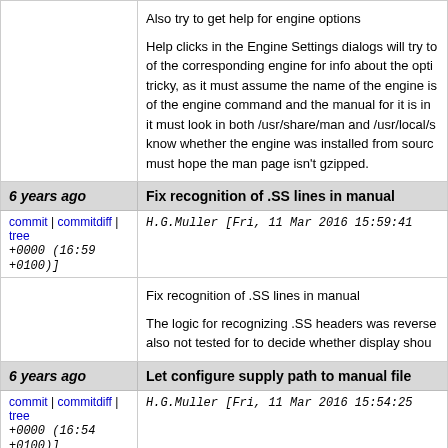Also try to get help for engine options

Help clicks in the Engine Settings dialogs will try to of the corresponding engine for info about the opti tricky, as it must assume the name of the engine is of the engine command and the manual for it is in it must look in both /usr/share/man and /usr/local/s know whether the engine was installed from sourc must hope the man page isn't gzipped.
Fix recognition of .SS lines in manual
6 years ago
commit | commitdiff | tree
H.G.Muller [Fri, 11 Mar 2016 15:59:41 +0000 (16:59 +0100)]
Fix recognition of .SS lines in manual

The logic for recognizing .SS headers was reverse also not tested for to decide whether display shou
Let configure supply path to manual file
6 years ago
commit | commitdiff | tree
H.G.Muller [Fri, 11 Mar 2016 15:54:25 +0000 (16:54 +0100)]
Let configure supply path to manual file

A new macro MANDIR is passed fro the configure